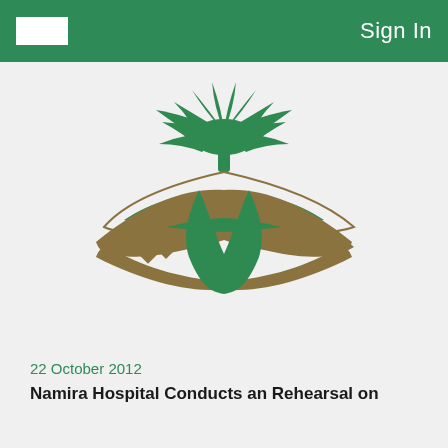Sign In
[Figure (logo): Saudi Ministry of Health logo: green palm tree above two crossed curved swords (green and gold/brown), with gold diamond shapes on the left side]
22 October 2012
Namira Hospital Conducts an Rehearsal on